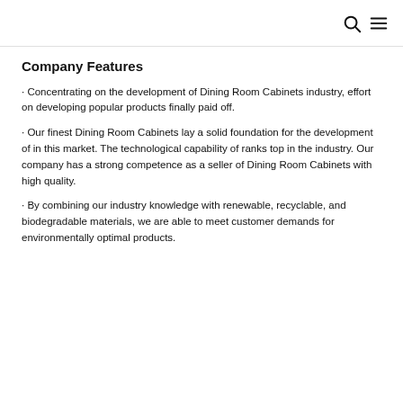search and menu icons
Company Features
· Concentrating on the development of Dining Room Cabinets industry, effort on developing popular products finally paid off.
· Our finest Dining Room Cabinets lay a solid foundation for the development of in this market. The technological capability of ranks top in the industry. Our company has a strong competence as a seller of Dining Room Cabinets with high quality.
· By combining our industry knowledge with renewable, recyclable, and biodegradable materials, we are able to meet customer demands for environmentally optimal products.